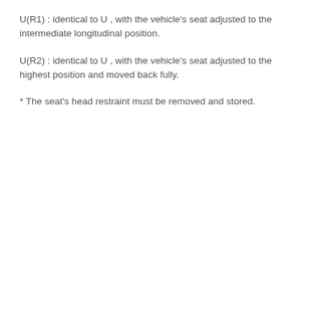U(R1) : identical to U , with the vehicle's seat adjusted to the intermediate longitudinal position.
U(R2) : identical to U , with the vehicle's seat adjusted to the highest position and moved back fully.
* The seat's head restraint must be removed and stored.